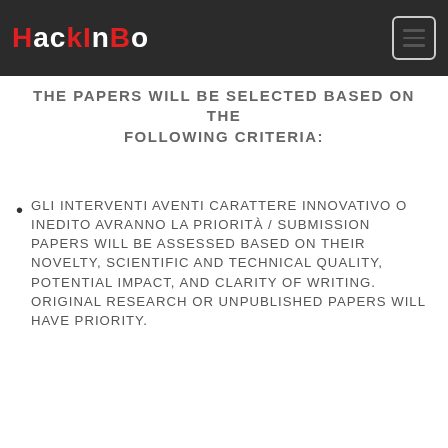HackInBo
THE PAPERS WILL BE SELECTED BASED ON THE FOLLOWING CRITERIA:
Gli interventi aventi carattere innovativo o inedito avranno la priorità / Submission papers will be assessed based on their novelty, scientific and technical quality, potential impact, and clarity of writing. Original research or unpublished papers will have priority.